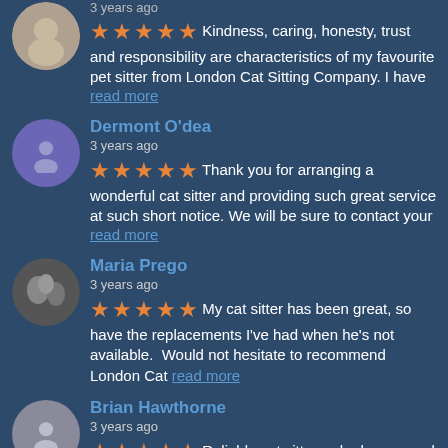3 years ago
★★★★★ Kindness, caring, honesty, trust and responsibility are characteristics of my favourite pet sitter from London Cat Sitting Company. I have read more
Dermont O'dea
3 years ago
★★★★★ Thank you for arranging a wonderful cat sitter and providing such great service at such short notice. We will be sure to contact your read more
Maria Prego
3 years ago
★★★★★ My cat sitter has been great, so have the replacements I've had when he's not available. Would not hesitate to recommend London Cat read more
Brian Hawthorne
3 years ago
★★★★★ Reliable cat sitters who have cared for my cats at least 6 times this year. As a frequent